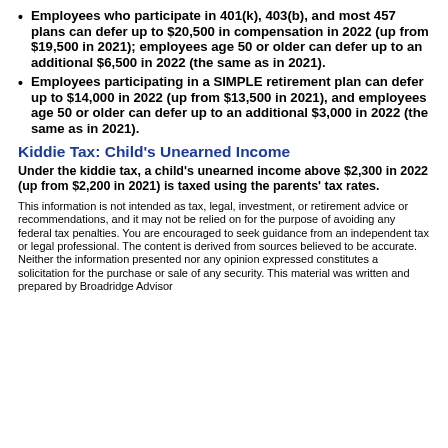Employees who participate in 401(k), 403(b), and most 457 plans can defer up to $20,500 in compensation in 2022 (up from $19,500 in 2021); employees age 50 or older can defer up to an additional $6,500 in 2022 (the same as in 2021).
Employees participating in a SIMPLE retirement plan can defer up to $14,000 in 2022 (up from $13,500 in 2021), and employees age 50 or older can defer up to an additional $3,000 in 2022 (the same as in 2021).
Kiddie Tax: Child's Unearned Income
Under the kiddie tax, a child's unearned income above $2,300 in 2022 (up from $2,200 in 2021) is taxed using the parents' tax rates.
This information is not intended as tax, legal, investment, or retirement advice or recommendations, and it may not be relied on for the purpose of avoiding any federal tax penalties. You are encouraged to seek guidance from an independent tax or legal professional. The content is derived from sources believed to be accurate. Neither the information presented nor any opinion expressed constitutes a solicitation for the purchase or sale of any security. This material was written and prepared by Broadridge Advisor